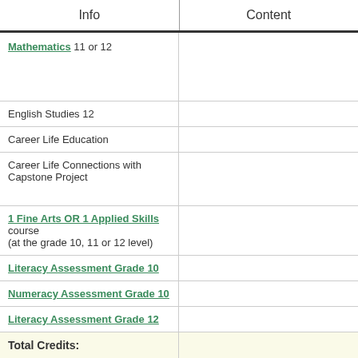| Info | Content |
| --- | --- |
| Mathematics 11 or 12 |  |
| English Studies 12 |  |
| Career Life Education |  |
| Career Life Connections with Capstone Project |  |
| 1 Fine Arts OR 1 Applied Skills course (at the grade 10, 11 or 12 level) |  |
| Literacy Assessment Grade 10 |  |
| Numeracy Assessment Grade 10 |  |
| Literacy Assessment Grade 12 |  |
| Total Credits: |  |